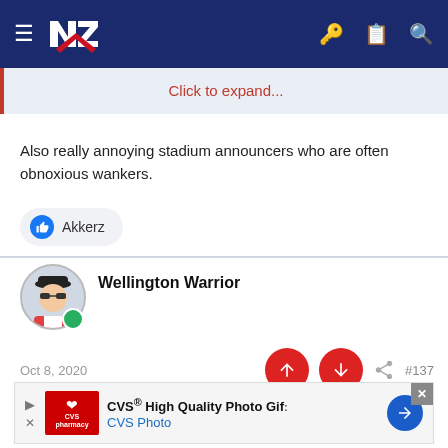[Figure (screenshot): Navigation bar with hamburger menu, NZ Warriors logo, and icons for key, clipboard, and search on dark blue background]
Click to expand...
Also really annoying stadium announcers who are often obnoxious wankers.
Akkerz
Wellington Warrior
Oct 8, 2020
#137
[Figure (screenshot): CVS pharmacy advertisement: CVS High Quality Photo Gif, CVS Photo]